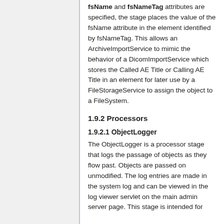fsName and fsNameTag attributes are specified, the stage places the value of the fsName attribute in the element identified by fsNameTag. This allows an ArchiveImportService to mimic the behavior of a DicomImportService which stores the Called AE Title or Calling AE Title in an element for later use by a FileStorageService to assign the object to a FileSystem.
1.9.2 Processors
1.9.2.1 ObjectLogger
The ObjectLogger is a processor stage that logs the passage of objects as they flow past. Objects are passed on unmodified. The log entries are made in the system log and can be viewed in the log viewer servlet on the main admin server page. This stage is intended for